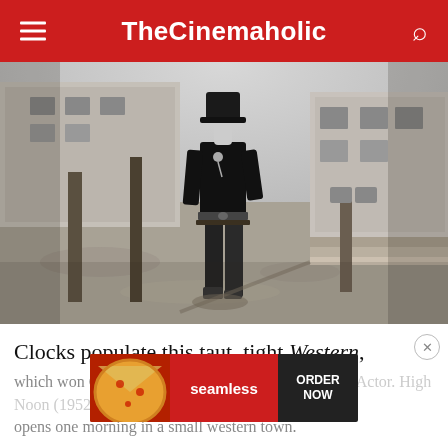TheCinemaholic
[Figure (photo): Black and white still from a Western film showing a man in dark clothing and a gun belt walking down a dusty main street with wooden buildings and hitching posts in the background]
Clocks populate this taut, tight Western, which won Gary Cooper an Academy Award for Best Actor. High Noon (1952), which opens one morning in a small western town.
[Figure (other): Seamless food delivery advertisement banner showing pizza, Seamless logo, and ORDER NOW button]